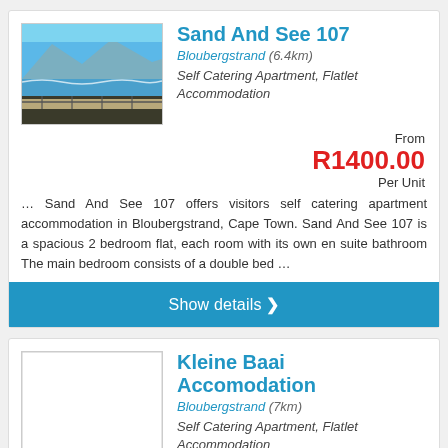Sand And See 107
Bloubergstrand (6.4km)
Self Catering Apartment, Flatlet Accommodation
[Figure (photo): Beachfront photo with mountains and ocean in background]
From
R1400.00
Per Unit
… Sand And See 107 offers visitors self catering apartment accommodation in Bloubergstrand, Cape Town. Sand And See 107 is a spacious 2 bedroom flat, each room with its own en suite bathroom The main bedroom consists of a double bed …
Show details ❯
Kleine Baai Accomodation
Bloubergstrand (7km)
Self Catering Apartment, Flatlet Accommodation
From